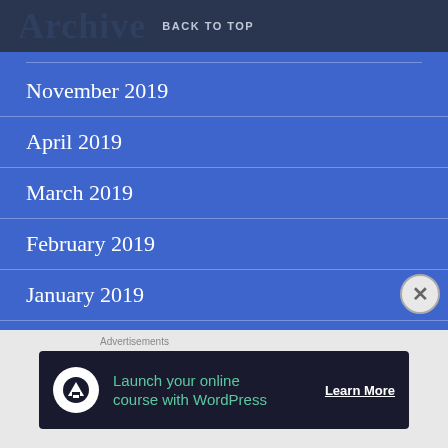Archive BACK TO TOP
November 2019
April 2019
March 2019
February 2019
January 2019
November 2018
Advertisements
[Figure (infographic): Advertisement banner: 'Launch your online course with WordPress' with a Learn More button and an upload icon on dark background]